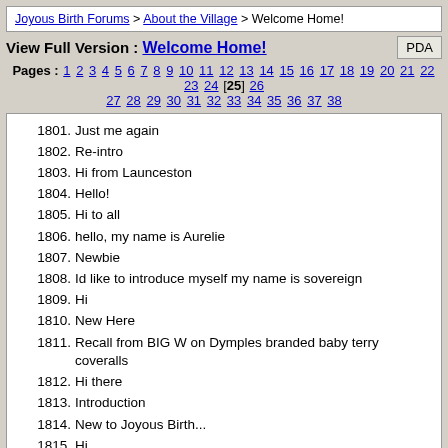Joyous Birth Forums > About the Village > Welcome Home!
View Full Version : Welcome Home!
Pages : 1 2 3 4 5 6 7 8 9 10 11 12 13 14 15 16 17 18 19 20 21 22 23 24 [25] 26 27 28 29 30 31 32 33 34 35 36 37 38
1801. Just me again
1802. Re-intro
1803. Hi from Launceston
1804. Hello!
1805. Hi to all
1806. hello, my name is Aurelie
1807. Newbie
1808. Id like to introduce myself my name is sovereign
1809. Hi
1810. New Here
1811. Recall from BIG W on Dymples branded baby terry coveralls
1812. Hi there
1813. Introduction
1814. New to Joyous Birth...
1815. Hi
1816. Hello
1817. re-intro
1818. hey!
1819. Hi!